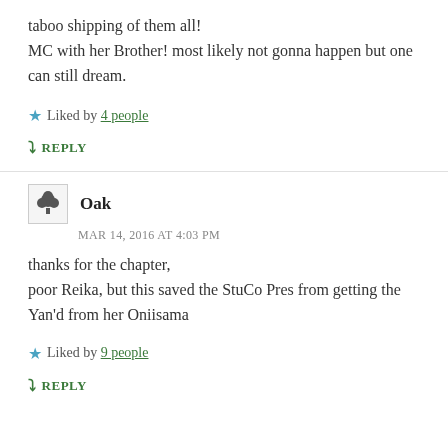taboo shipping of them all!
MC with her Brother! most likely not gonna happen but one can still dream.
Liked by 4 people
REPLY
Oak
MAR 14, 2016 AT 4:03 PM
thanks for the chapter,
poor Reika, but this saved the StuCo Pres from getting the Yan'd from her Oniisama
Liked by 9 people
REPLY